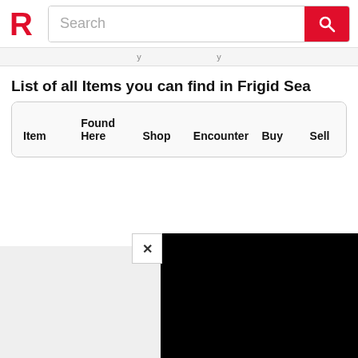Search
List of all Items you can find in Frigid Sea
| Item | Found Here | Shop | Encounter | Buy | Sell |
| --- | --- | --- | --- | --- | --- |
advertisement
[Figure (other): Black video player overlay with close (X) button in top-left corner]